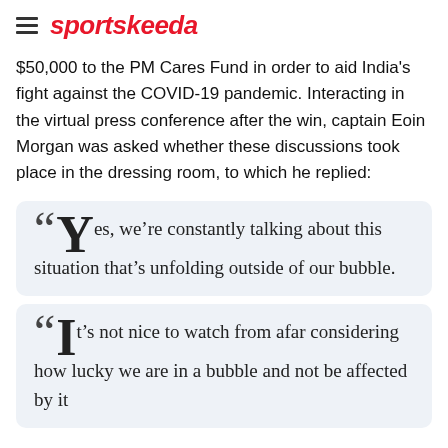sportskeeda
$50,000 to the PM Cares Fund in order to aid India's fight against the COVID-19 pandemic. Interacting in the virtual press conference after the win, captain Eoin Morgan was asked whether these discussions took place in the dressing room, to which he replied:
“Yes, we’re constantly talking about this situation that’s unfolding outside of our bubble.
“It’s not nice to watch from afar considering how lucky we are in a bubble and not be affected by it